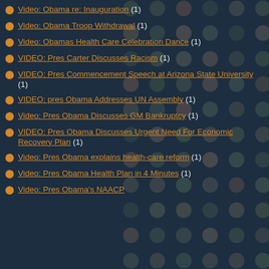Video: Obama re: Inauguration (1)
Video: Obama Troop Withdrawal (1)
Video: Obamas Health Care Celebration Dance (1)
VIDEO: Pres Carter Discusses Racism (1)
VIDEO: Pres Commencement Speech at Arizona State University (1)
VIDEO: pres Obama Addresses UN Assembly (1)
Video: Pres Obama Discusses GM Bankruptcy (1)
VIDEO: Pres Obama Discusses Urgent Need For Economic Recovery Plan (1)
Video: Pres Obama explains health-care reform (1)
Video: Pres Obama Health Plan in 4 Minutes (1)
Video: Pres Obama's NAACP